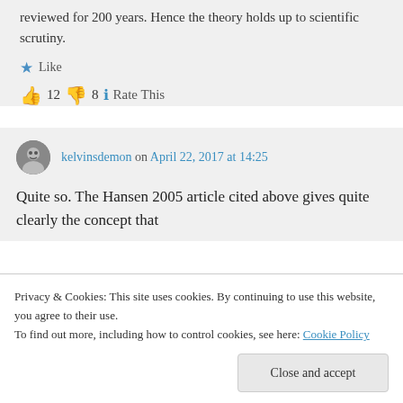reviewed for 200 years. Hence the theory holds up to scientific scrutiny.
Like
👍 12 👎 8 ℹ Rate This
kelvinsdemon on April 22, 2017 at 14:25
Quite so. The Hansen 2005 article cited above gives quite clearly the concept that
Privacy & Cookies: This site uses cookies. By continuing to use this website, you agree to their use.
To find out more, including how to control cookies, see here: Cookie Policy
Close and accept